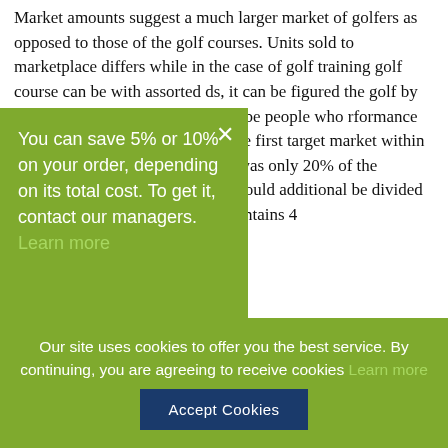Market amounts suggest a much larger market of golfers as opposed to those of the golf courses. Units sold to marketplace differs while in the case of golf training golf course can be with assorted ds, it can be figured the golf by the Distance-only or stem, would be people who rformance simply by licap, hence forming the first target market within the players. Discouragingly, this was only 20% of the players. Also, the golfer market would additional be divided by some. Since a game usually contains 4
You can save 5% or 10% on your order, depending on its total cost. To get it, contact our managers. Learn more
Our site uses cookies to offer you the best service. By continuing, you are agreeing to receive cookies Learn more